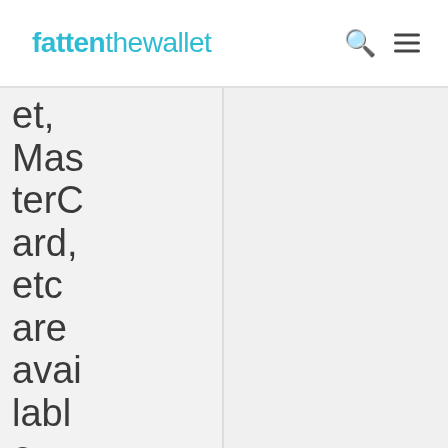fattenthewallet
et, MasterCard, etc are available starting at $3.0